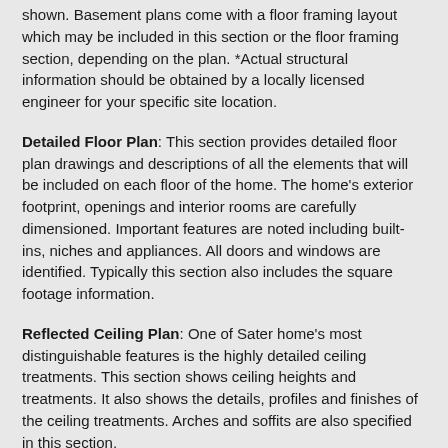shown. Basement plans come with a floor framing layout which may be included in this section or the floor framing section, depending on the plan. *Actual structural information should be obtained by a locally licensed engineer for your specific site location.
Detailed Floor Plan: This section provides detailed floor plan drawings and descriptions of all the elements that will be included on each floor of the home. The home's exterior footprint, openings and interior rooms are carefully dimensioned. Important features are noted including built-ins, niches and appliances. All doors and windows are identified. Typically this section also includes the square footage information.
Reflected Ceiling Plan: One of Sater home's most distinguishable features is the highly detailed ceiling treatments. This section shows ceiling heights and treatments. It also shows the details, profiles and finishes of the ceiling treatments. Arches and soffits are also specified in this section.